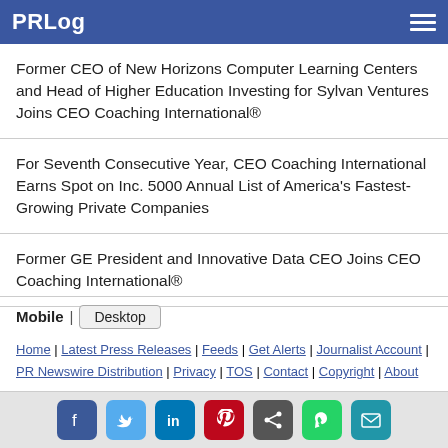PRLog
Former CEO of New Horizons Computer Learning Centers and Head of Higher Education Investing for Sylvan Ventures Joins CEO Coaching International®
For Seventh Consecutive Year, CEO Coaching International Earns Spot on Inc. 5000 Annual List of America's Fastest-Growing Private Companies
Former GE President and Innovative Data CEO Joins CEO Coaching International®
Mobile | Desktop
Home | Latest Press Releases | Feeds | Get Alerts | Journalist Account | PR Newswire Distribution | Privacy | TOS | Contact | Copyright | About